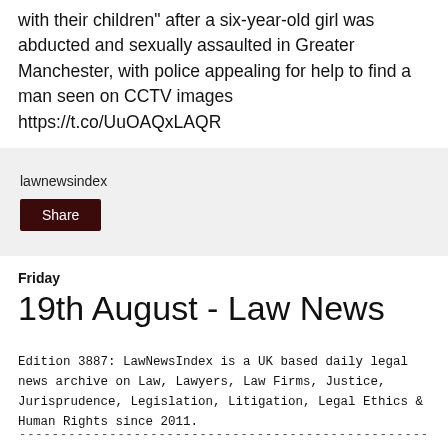with their children" after a six-year-old girl was abducted and sexually assaulted in Greater Manchester, with police appealing for help to find a man seen on CCTV images https://t.co/UuOAQxLAQR
lawnewsindex
Share
Friday
19th August - Law News
Edition 3887: LawNewsIndex is a UK based daily legal news archive on Law, Lawyers, Law Firms, Justice, Jurisprudence, Legislation, Litigation, Legal Ethics & Human Rights since 2011.
------------------------------------------------------------